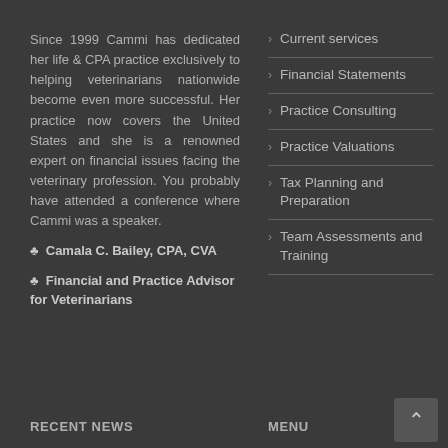Since 1999 Cammi has dedicated her life & CPA practice exclusively to helping veterinarians nationwide become even more successful. Her practice now covers the United States and she is a renowned expert on financial issues facing the veterinary profession. You probably have attended a conference where Cammi was a speaker.
♣ Camala C. Bailey, CPA, CVA
♣ Financial and Practice Advisor for Veterinarians
> Current services
> Financial Statements
> Practice Consulting
> Practice Valuations
> Tax Planning and Preparation
> Team Assessments and Training
RECENT NEWS   MENU